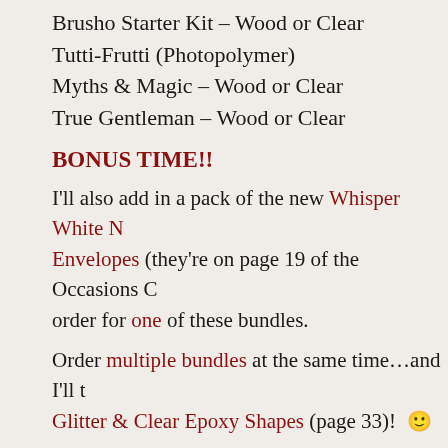Brusho Starter Kit – Wood or Clear
Tutti-Frutti (Photopolymer)
Myths & Magic – Wood or Clear
True Gentleman – Wood or Clear
BONUS TIME!!
I'll also add in a pack of the new Whisper White Notecards & Envelopes (they're on page 19 of the Occasions Catalog) with each order for one of these bundles.
Order multiple bundles at the same time…and I'll throw in some Glitter & Clear Epoxy Shapes (page 33)! 🙂
So – if these look good to you, head over to my Stampin' Up! Occasions Catalog Bundles page and fill out the form. There are also pictures of the bundles!